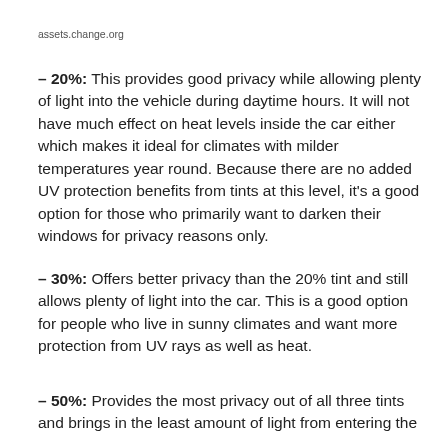assets.change.org
– 20%: This provides good privacy while allowing plenty of light into the vehicle during daytime hours. It will not have much effect on heat levels inside the car either which makes it ideal for climates with milder temperatures year round. Because there are no added UV protection benefits from tints at this level, it's a good option for those who primarily want to darken their windows for privacy reasons only.
– 30%: Offers better privacy than the 20% tint and still allows plenty of light into the car. This is a good option for people who live in sunny climates and want more protection from UV rays as well as heat.
– 50%: Provides the most privacy out of all three tints and brings in the least amount of light from entering the